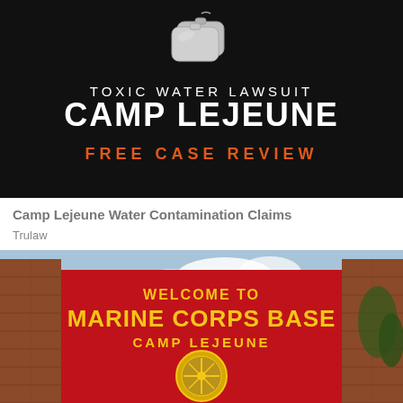[Figure (illustration): Black background advertising banner with dog tags image, text 'TOXIC WATER LAWSUIT CAMP LEJEUNE' in white, and 'FREE CASE REVIEW' in orange]
Camp Lejeune Water Contamination Claims
Trulaw
[Figure (photo): Photograph of the Camp Lejeune Marine Corps Base welcome sign — a large red sign reading 'WELCOME TO MARINE CORPS BASE CAMP LEJEUNE' with military emblems, flanked by brick pillars]